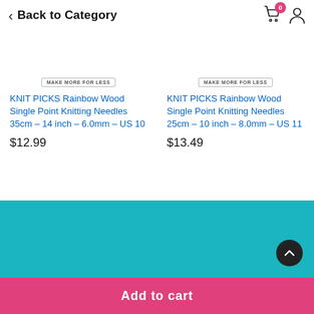Back to Category
[Figure (screenshot): Product image placeholder with 'MAKE MORE FOR LESS' badge for left product]
KNIT PICKS Rainbow Wood Single Point Knitting Needles 35cm – 14 inch – 6.0mm – US 10
$12.99
[Figure (screenshot): Product image placeholder with 'MAKE MORE FOR LESS' badge for right product]
KNIT PICKS Rainbow Wood Single Point Knitting Needles 25cm – 10 inch – 8.0mm – US 11
$13.49
[Figure (other): Pagination dots: one filled pink dot and two empty circle dots]
Add to cart